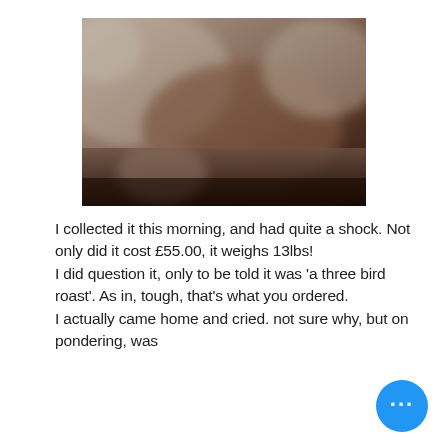[Figure (photo): A blurry, close-up photograph of what appears to be a large roasted or raw bird/meat, with dark brownish tones. The image is out of focus.]
I collected it this morning, and had quite a shock. Not only did it cost £55.00, it weighs 13lbs! I did question it, only to be told it was 'a three bird roast'. As in, tough, that's what you ordered. I actually came home and cried. not sure why, but on pondering, was